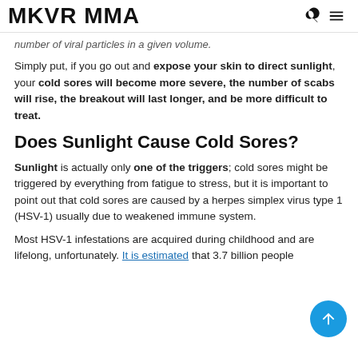MKVR MMA
number of viral particles in a given volume.
Simply put, if you go out and expose your skin to direct sunlight, your cold sores will become more severe, the number of scabs will rise, the breakout will last longer, and be more difficult to treat.
Does Sunlight Cause Cold Sores?
Sunlight is actually only one of the triggers; cold sores might be triggered by everything from fatigue to stress, but it is important to point out that cold sores are caused by a herpes simplex virus type 1 (HSV-1) usually due to weakened immune system.
Most HSV-1 infestations are acquired during childhood and are lifelong, unfortunately. It is estimated that 3.7 billion people